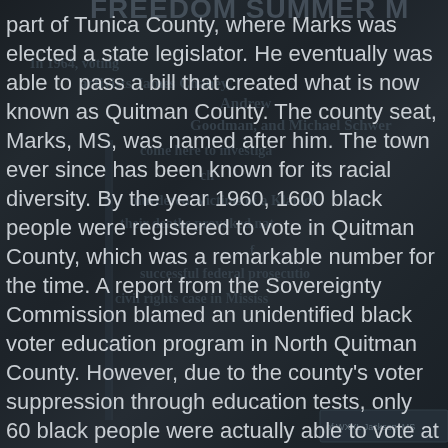part of Tunica County, where Marks was elected a state legislator. He eventually was able to pass a bill that created what is now known as Quitman County. The county seat, Marks, MS, was named after him. The town ever since has been known for its racial diversity. By the year 1960, 1600 black people were registered to vote in Quitman County, which was a remarkable number for the time. A report from the Sovereignty Commission blamed an unidentified black voter education program in North Quitman County. However, due to the county's voter suppression through education tests, only 60 black people were actually able to vote at the time. In 1968, Martin Luther King visited Marks, MS. Upon seeing the incredible economic disparity and hunger